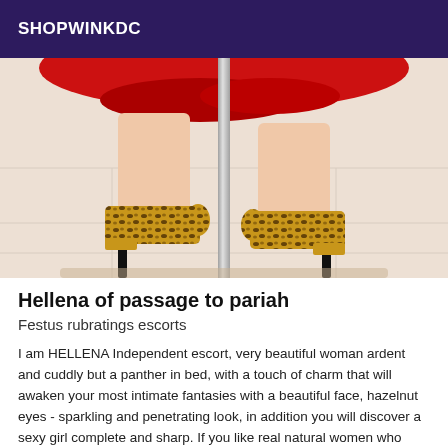SHOPWINKDC
[Figure (photo): Photo of a woman's legs from the knees down, wearing leopard-print high heel shoes, standing near a pole, wearing a red skirt/dress, reflected on a light tiled floor.]
Hellena of passage to pariah
Festus rubratings escorts
I am HELLENA Independent escort, very beautiful woman ardent and cuddly but a panther in bed, with a touch of charm that will awaken your most intimate fantasies with a beautiful face, hazelnut eyes - sparkling and penetrating look, in addition you will discover a sexy girl complete and sharp. If you like real natural women who burst with desire you will find your happiness. I am